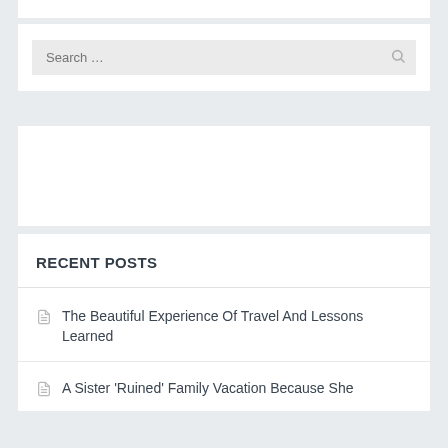[Figure (screenshot): Search widget with a search input box containing placeholder text 'Search …' and a search icon on the right]
[Figure (other): Empty white advertisement or content widget area]
RECENT POSTS
The Beautiful Experience Of Travel And Lessons Learned
A Sister 'Ruined' Family Vacation Because She